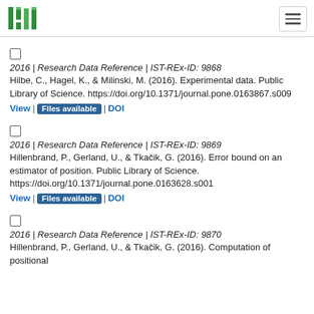ISTA logo and navigation
2016 | Research Data Reference | IST-REx-ID: 9868
Hilbe, C., Hagel, K., & Milinski, M. (2016). Experimental data. Public Library of Science. https://doi.org/10.1371/journal.pone.0163867.s009
View | Files available | DOI
2016 | Research Data Reference | IST-REx-ID: 9869
Hillenbrand, P., Gerland, U., & Tkačik, G. (2016). Error bound on an estimator of position. Public Library of Science. https://doi.org/10.1371/journal.pone.0163628.s001
View | Files available | DOI
2016 | Research Data Reference | IST-REx-ID: 9870
Hillenbrand, P., Gerland, U., & Tkačik, G. (2016). Computation of positional